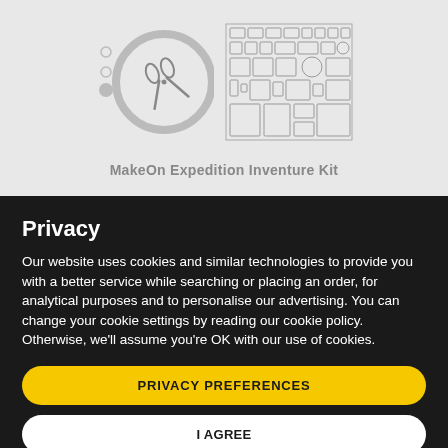[Figure (illustration): Product images showing a clock with scissors inside (MakeOn design) and a kit/components layout diagram on a grey background]
MakeOn Expedition Inventure Kit
Privacy
Our website uses cookies and similar technologies to provide you with a better service while searching or placing an order, for analytical purposes and to personalise our advertising. You can change your cookie settings by reading our cookie policy. Otherwise, we'll assume you're OK with our use of cookies.
PRIVACY PREFERENCES
I AGREE